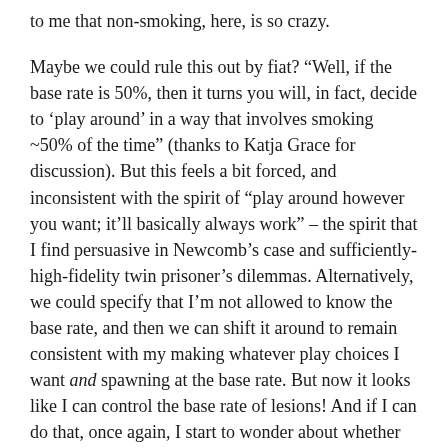to me that non-smoking, here, is so crazy.
Maybe we could rule this out by fiat? “Well, if the base rate is 50%, then it turns you will, in fact, decide to ‘play around’ in a way that involves smoking ~50% of the time” (thanks to Katja Grace for discussion). But this feels a bit forced, and inconsistent with the spirit of “play around however you want; it’ll basically always work” – the spirit that I find persuasive in Newcomb’s case and sufficiently-high-fidelity twin prisoner’s dilemmas. Alternatively, we could specify that I’m not allowed to know the base rate, and then we can shift it around to remain consistent with my making whatever play choices I want and spawning at the base rate. But now it looks like I can control the base rate of lesions! And if I can do that, once again, I start to wonder about whether non-smoking is so crazy after all.
That said, maybe the right thing to say here is just that the